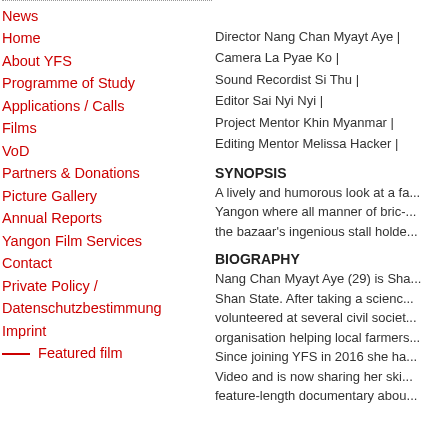News
Home
About YFS
Programme of Study
Applications / Calls
Films
VoD
Partners & Donations
Picture Gallery
Annual Reports
Yangon Film Services
Contact
Private Policy / Datenschutzbestimmung
Imprint
___ Featured film
Director Nang Chan Myayt Aye |
Camera La Pyae Ko |
Sound Recordist Si Thu |
Editor Sai Nyi Nyi |
Project Mentor Khin Myanmar |
Editing Mentor Melissa Hacker |
SYNOPSIS
A lively and humorous look at a fa... Yangon where all manner of bric-... the bazaar's ingenious stall holde...
BIOGRAPHY
Nang Chan Myayt Aye (29) is Sha... Shan State. After taking a scienc... volunteered at several civil societ... organisation helping local farmers... Since joining YFS in 2016 she ha... Video and is now sharing her ski... feature-length documentary abou...